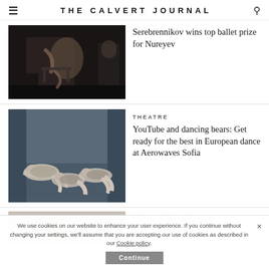THE CALVERT JOURNAL
[Figure (photo): Ballet dancer performing on stage, dramatic pose with chair, dark background]
Serebrennikov wins top ballet prize for Nureyev
[Figure (photo): Three dancers lying on a blue-grey floor in grey costumes, contemporary dance]
THEATRE
YouTube and dancing bears: Get ready for the best in European dance at Aerowaves Sofia
[Figure (photo): Partially visible third article image, bottom of page]
Follow of the week: get to ... rising Bolshoi Ballet
We use cookies on our website to enhance your user experience. If you continue without changing your settings, we'll assume that you are accepting our use of cookies as described in our Cookie policy.